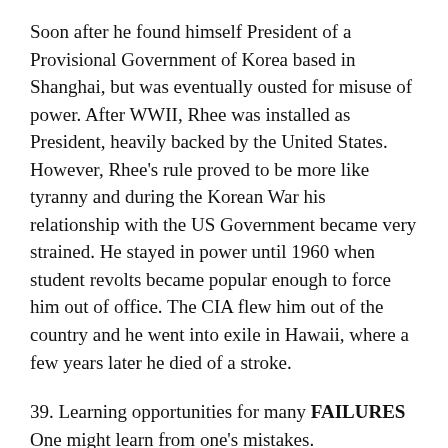Soon after he found himself President of a Provisional Government of Korea based in Shanghai, but was eventually ousted for misuse of power. After WWII, Rhee was installed as President, heavily backed by the United States. However, Rhee’s rule proved to be more like tyranny and during the Korean War his relationship with the US Government became very strained. He stayed in power until 1960 when student revolts became popular enough to force him out of office. The CIA flew him out of the country and he went into exile in Hawaii, where a few years later he died of a stroke.
39. Learning opportunities for many FAILURES
One might learn from one’s mistakes.
47. Café cup TASSE
“Tasse” is the French word for “cup”.
51. High-ranking NCO MSGT